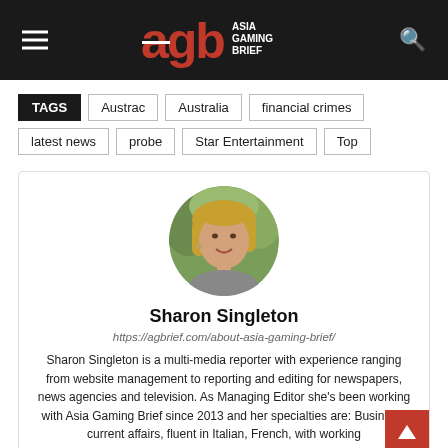AGB Asia Gaming Brief
TAGS  Austrac  Australia  financial crimes  latest news  probe  Star Entertainment  Top
[Figure (photo): Circular portrait photo of Sharon Singleton, a woman with blonde hair]
Sharon Singleton
https://agbrief.com/about-asia-gaming-brief/
Sharon Singleton is a multi-media reporter with experience ranging from website management to reporting and editing for newspapers, news agencies and television. As Managing Editor she's been working with Asia Gaming Brief since 2013 and her specialties are: Business, current affairs, fluent in Italian, French, with working